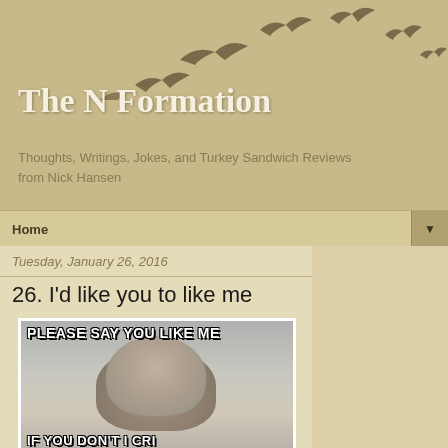The N Formation
Thoughts, Writings, Jokes, and Turkey Sandwich Reviews from Nick Hansen
Home
Tuesday, January 26, 2016
26. I'd like you to like me
[Figure (photo): Meme image of a sad kitten with text 'PLEASE SAY YOU LIKE ME' at top and partially visible text at bottom]